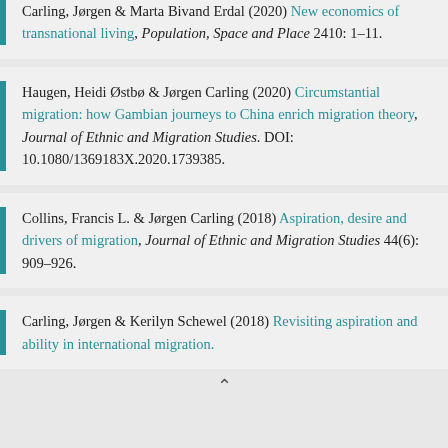Carling, Jørgen & Marta Bivand Erdal (2020) New economics of transnational living, Population, Space and Place 2410: 1–11.
Haugen, Heidi Østbø & Jørgen Carling (2020) Circumstantial migration: how Gambian journeys to China enrich migration theory, Journal of Ethnic and Migration Studies. DOI: 10.1080/1369183X.2020.1739385.
Collins, Francis L. & Jørgen Carling (2018) Aspiration, desire and drivers of migration, Journal of Ethnic and Migration Studies 44(6): 909–926.
Carling, Jørgen & Kerilyn Schewel (2018) Revisiting aspiration and ability in international migration.
^